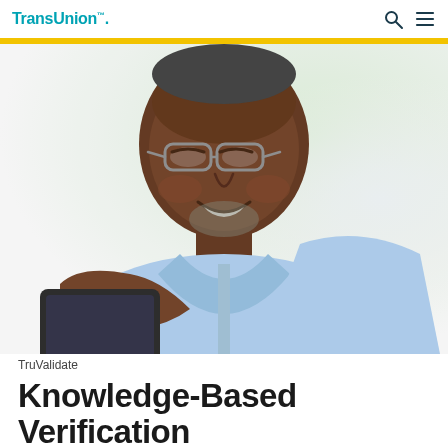TransUnion
[Figure (photo): An older Black man wearing glasses and a light blue dress shirt, smiling while looking down at a tablet device he is holding. Background is blurred with soft green/white tones.]
TruValidate
Knowledge-Based Verification